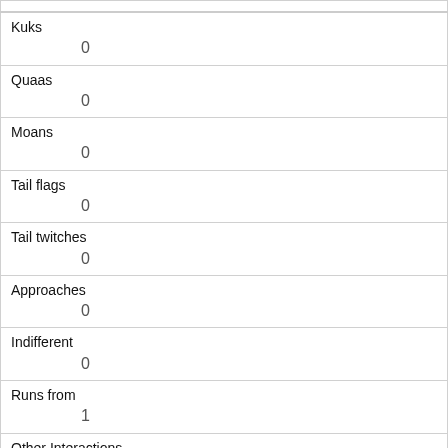| Kuks | 0 |
| Quaas | 0 |
| Moans | 0 |
| Tail flags | 0 |
| Tail twitches | 0 |
| Approaches | 0 |
| Indifferent | 0 |
| Runs from | 1 |
| Other Interactions | runs from (boy on bike) |
| Lat/Long | POINT (-73.97760547070016 40.76881090005669) |